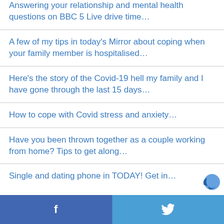Answering your relationship and mental health questions on BBC 5 Live drive time…
A few of my tips in today's Mirror about coping when your family member is hospitalised…
Here's the story of the Covid-19 hell my family and I have gone through the last 15 days…
How to cope with Covid stress and anxiety…
Have you been thrown together as a couple working from home? Tips to get along…
Single and dating phone in TODAY! Get in…